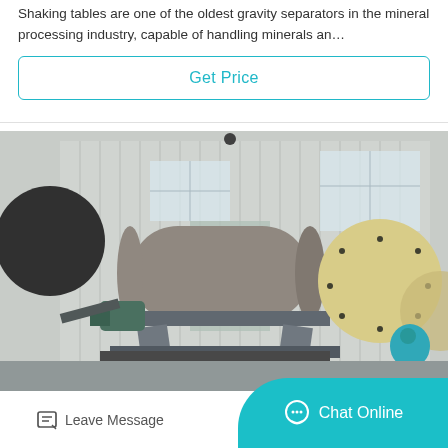Shaking tables are one of the oldest gravity separators in the mineral processing industry, capable of handling minerals an…
Get Price
[Figure (photo): Industrial mineral processing equipment including rotating drum mills and a ball mill in a factory/outdoor setting with corrugated metal building in background.]
Leave Message
Chat Online